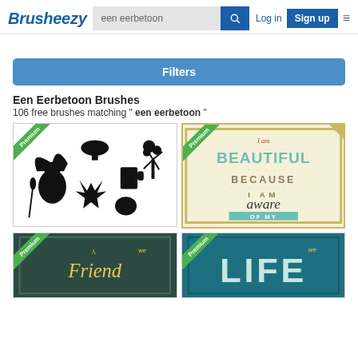Brusheezy
een eerbetoon
Log in   Sign up
Filters
Een Eerbetoon Brushes
106 free brushes matching " een eerbetoon "
[Figure (screenshot): Premium brush set thumbnail showing black silhouette illustrations of autumn/harvest items: turkey, mushrooms, windmill, wheat, maple leaf, pumpkin, beer mug, berries]
[Figure (screenshot): Premium typographic poster with text 'I am BEAUTIFUL BECAUSE I AM aware OF MY · FLAWS ·' on cream background]
[Figure (screenshot): Premium typographic poster with text 'A Friend' on dark teal background, partially visible]
[Figure (screenshot): Premium typographic poster with text 'LIFE' on teal background, partially visible]